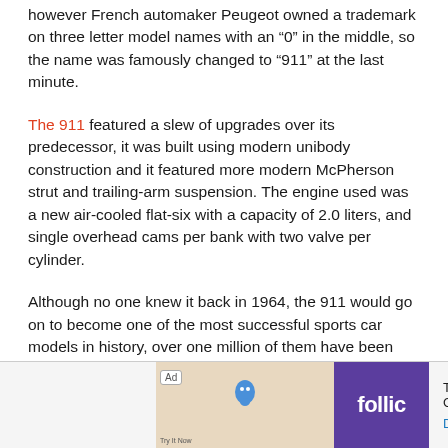however French automaker Peugeot owned a trademark on three letter model names with an “0” in the middle, so the name was famously changed to “911” at the last minute.
The 911 featured a slew of upgrades over its predecessor, it was built using modern unibody construction and it featured more modern McPherson strut and trailing-arm suspension. The engine used was a new air-cooled flat-six with a capacity of 2.0 liters, and single overhead cams per bank with two valve per cylinder.
Although no one knew it back in 1964, the 911 would go on to become one of the most successful sports car models in history, over one million of them have been built over the past 57 years, and 911s have won countless races and championships.
[Figure (other): Advertisement banner for Follic app: Ad label, bird icon image, purple Follic logo box, tagline 'They Are Coming!', Download link]